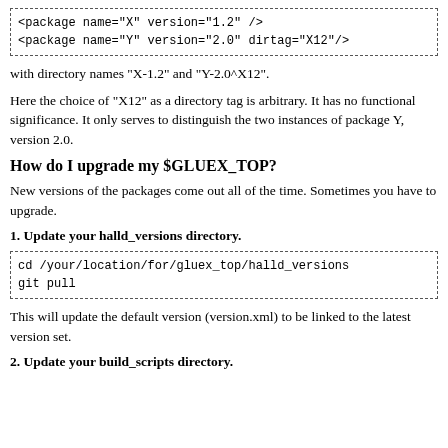[Figure (other): Code block with XML package declarations: <package name="X" version="1.2" /> and <package name="Y" version="2.0" dirtag="X12"/>]
with directory names "X-1.2" and "Y-2.0^X12".
Here the choice of "X12" as a directory tag is arbitrary. It has no functional significance. It only serves to distinguish the two instances of package Y, version 2.0.
How do I upgrade my $GLUEX_TOP?
New versions of the packages come out all of the time. Sometimes you have to upgrade.
1. Update your halld_versions directory.
[Figure (other): Code block with shell commands: cd /your/location/for/gluex_top/halld_versions and git pull]
This will update the default version (version.xml) to be linked to the latest version set.
2. Update your build_scripts directory.